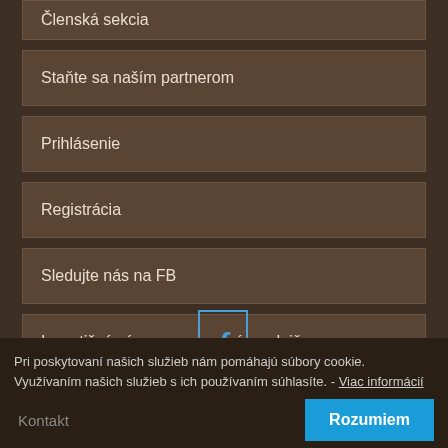Členská sekcia
Staňte sa naším partnerom
Prihlásenie
Registrácia
Sledujte nás na FB
Investičný zámer – pojazdná predajňa
Výročné správy
[Figure (logo): Facebook icon — letter f in a blue outlined rectangle]
Pri poskytovaní našich služieb nám pomáhajú súbory cookie. Využívaním našich služieb s ich používaním súhlasíte. - Viac informácií
Kontakt
Rozumiem